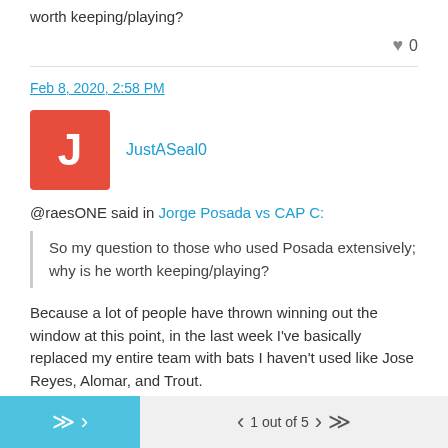worth keeping/playing?
0
Feb 8, 2020, 2:58 PM
JustASeal0
@raesONE said in Jorge Posada vs CAP C:
So my question to those who used Posada extensively; why is he worth keeping/playing?
Because a lot of people have thrown winning out the window at this point, in the last week I've basically replaced my entire team with bats I haven't used like Jose Reyes, Alomar, and Trout.
1 out of 5